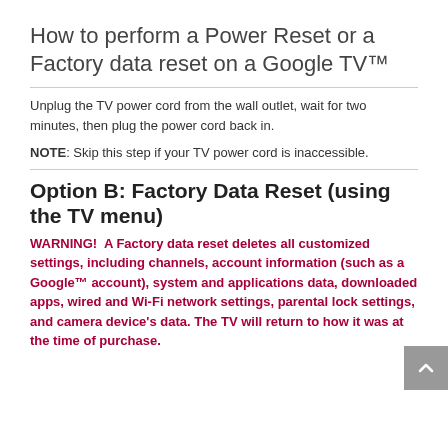How to perform a Power Reset or a Factory data reset on a Google TV™
Unplug the TV power cord from the wall outlet, wait for two minutes, then plug the power cord back in.
NOTE: Skip this step if your TV power cord is inaccessible.
Option B: Factory Data Reset (using the TV menu)
WARNING!  A Factory data reset deletes all customized settings, including channels, account information (such as a Google™ account), system and applications data, downloaded apps, wired and Wi-Fi network settings, parental lock settings, and camera device's data. The TV will return to how it was at the time of purchase.